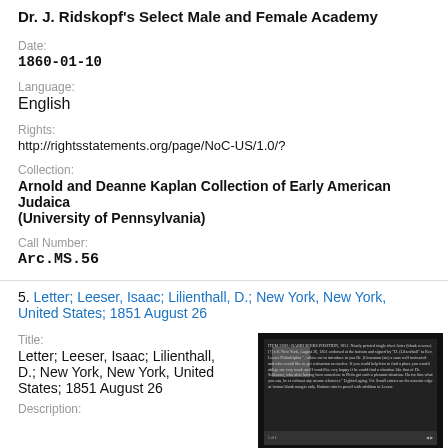Dr. J. Ridskopf's Select Male and Female Academy
Date:
1860-01-10
Language:
English
Rights:
http://rightsstatements.org/page/NoC-US/1.0/?
Collection:
Arnold and Deanne Kaplan Collection of Early American Judaica (University of Pennsylvania)
Call Number:
Arc.MS.56
5. Letter; Leeser, Isaac; Lilienthall, D.; New York, New York, United States; 1851 August 26
Title:
Letter; Leeser, Isaac; Lilienthall, D.; New York, New York, United States; 1851 August 26
[Figure (photo): Thumbnail image of a historical letter document with handwritten text, set against a black background with a dark bottom bar showing page navigation controls.]
Description: